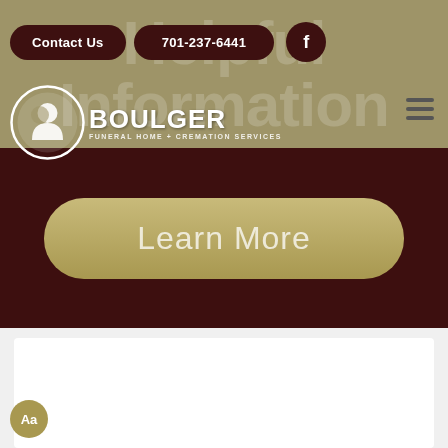[Figure (screenshot): Boulger Funeral Home & Cremation Services website screenshot showing navigation header with Contact Us and phone number buttons, logo, hamburger menu, Learn More button on dark maroon background, and white content area below.]
Contact Us
701-237-6441
[Figure (logo): Boulger Funeral Home + Cremation Services logo with circular icon and white text]
Learn More
Aa